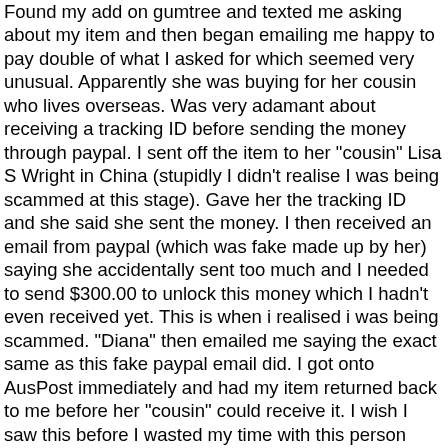Found my add on gumtree and texted me asking about my item and then began emailing me happy to pay double of what I asked for which seemed very unusual. Apparently she was buying for her cousin who lives overseas. Was very adamant about receiving a tracking ID before sending the money through paypal. I sent off the item to her "cousin" Lisa S Wright in China (stupidly I didn't realise I was being scammed at this stage). Gave her the tracking ID and she said she sent the money. I then received an email from paypal (which was fake made up by her) saying she accidentally sent too much and I needed to send $300.00 to unlock this money which I hadn't even received yet. This is when i realised i was being scammed. "Diana" then emailed me saying the exact same as this fake paypal email did. I got onto AusPost immediately and had my item returned back to me before her "cousin" could receive it. I wish I saw this before I wasted my time with this person and almost lost my item. I hope this helps others into not being scammed. It makes me very angry that these type of